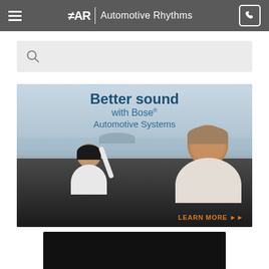FAR | Automotive Rhythms
[Figure (screenshot): Search input field with magnifying glass icon on light gray background]
[Figure (illustration): Bose Automotive Systems advertisement banner. Text reads 'Better sound with Bose® Automotive Systems'. Two people (man and woman) in a convertible car by the water. 'LEARN MORE >>' button in orange at bottom right.]
[Figure (photo): Black rectangle partially visible at bottom of page, appears to be another image or video thumbnail]